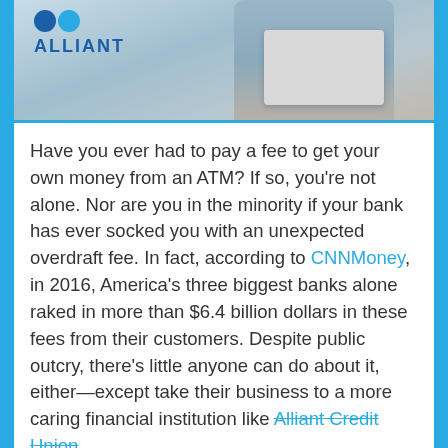[Figure (photo): Header photo of a person using a laptop, with Alliant logo in upper left corner. Two overlapping circles (dark blue and light blue) above the text ALLIANT in dark blue capital letters.]
Have you ever had to pay a fee to get your own money from an ATM? If so, you're not alone. Nor are you in the minority if your bank has ever socked you with an unexpected overdraft fee. In fact, according to CNNMoney, in 2016, America's three biggest banks alone raked in more than $6.4 billion dollars in these fees from their customers. Despite public outcry, there's little anyone can do about it, either—except take their business to a more caring financial institution like Alliant Credit Union.
Read more ›